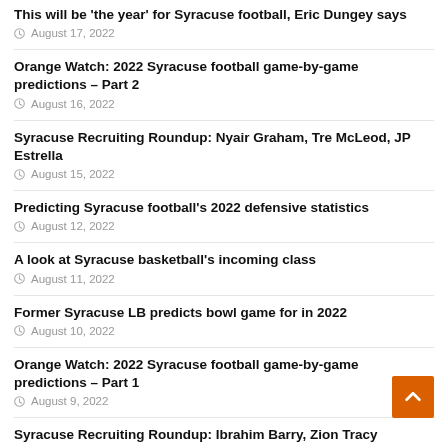This will be 'the year' for Syracuse football, Eric Dungey says
August 17, 2022
Orange Watch: 2022 Syracuse football game-by-game predictions – Part 2
August 16, 2022
Syracuse Recruiting Roundup: Nyair Graham, Tre McLeod, JP Estrella
August 15, 2022
Predicting Syracuse football's 2022 defensive statistics
August 12, 2022
A look at Syracuse basketball's incoming class
August 11, 2022
Former Syracuse LB predicts bowl game for in 2022
August 10, 2022
Orange Watch: 2022 Syracuse football game-by-game predictions – Part 1
August 9, 2022
Syracuse Recruiting Roundup: Ibrahim Barry, Zion Tracy